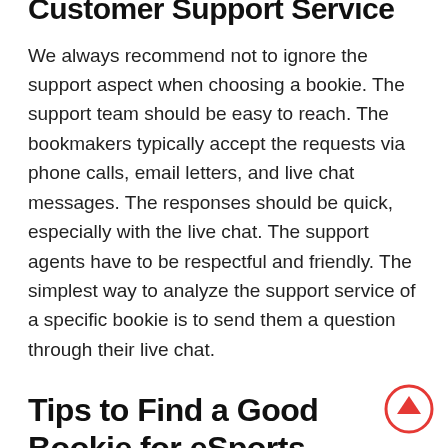Customer Support Service
We always recommend not to ignore the support aspect when choosing a bookie. The support team should be easy to reach. The bookmakers typically accept the requests via phone calls, email letters, and live chat messages. The responses should be quick, especially with the live chat. The support agents have to be respectful and friendly. The simplest way to analyze the support service of a specific bookie is to send them a question through their live chat.
Tips to Find a Good Bookie for eSports
As you could have seen throughout the article, there are lots of aspects you have to take into account when choosing a sportsbook for your esport betting experience